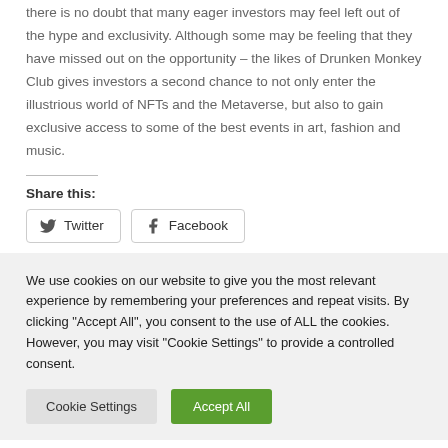there is no doubt that many eager investors may feel left out of the hype and exclusivity. Although some may be feeling that they have missed out on the opportunity – the likes of Drunken Monkey Club gives investors a second chance to not only enter the illustrious world of NFTs and the Metaverse, but also to gain exclusive access to some of the best events in art, fashion and music.
Share this:
Twitter  Facebook
We use cookies on our website to give you the most relevant experience by remembering your preferences and repeat visits. By clicking "Accept All", you consent to the use of ALL the cookies. However, you may visit "Cookie Settings" to provide a controlled consent.
Cookie Settings  Accept All